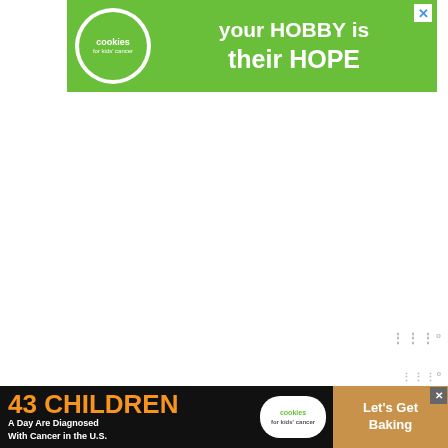[Figure (advertisement): Green banner ad for Cookies for Kids Cancer. Shows circular logo on left, text 'your HOBBY is their HOPE' on right in white bold text. X close button top right corner.]
[content-egg-block
[Figure (advertisement): Dark banner ad at bottom. Orange text '43 CHILDREN' with 'A Day Are Diagnosed With Cancer in the U.S.' in white. Center has Cookies for Kids Cancer logo. Right section shows 'Let's Get Baking' on tan/brown background.]